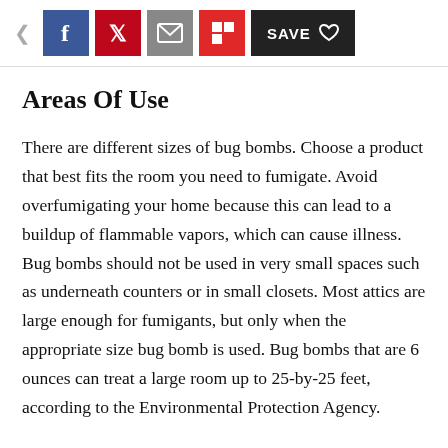[Figure (screenshot): Social sharing toolbar with back arrow, Facebook, Pinterest, Email, Flipboard, and Save buttons]
Areas Of Use
There are different sizes of bug bombs. Choose a product that best fits the room you need to fumigate. Avoid overfumigating your home because this can lead to a buildup of flammable vapors, which can cause illness. Bug bombs should not be used in very small spaces such as underneath counters or in small closets. Most attics are large enough for fumigants, but only when the appropriate size bug bomb is used. Bug bombs that are 6 ounces can treat a large room up to 25-by-25 feet, according to the Environmental Protection Agency.